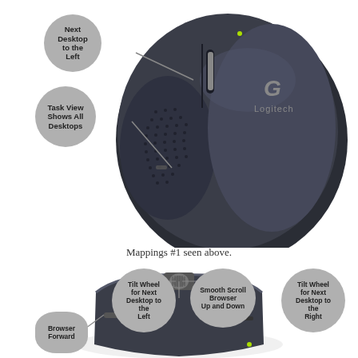[Figure (photo): Top-view of a Logitech wireless mouse (dark grey/black) with callout bubbles labeling: 'Next Desktop to the Left', 'Task View Shows All Desktops']
Mappings #1 seen above.
[Figure (photo): Front/angled view of the same Logitech mouse scroll wheel area with callout bubbles: 'Tilt Wheel for Next Desktop to the Left', 'Smooth Scroll Browser Up and Down', 'Tilt Wheel for Next Desktop to the Right', 'Browser Forward']